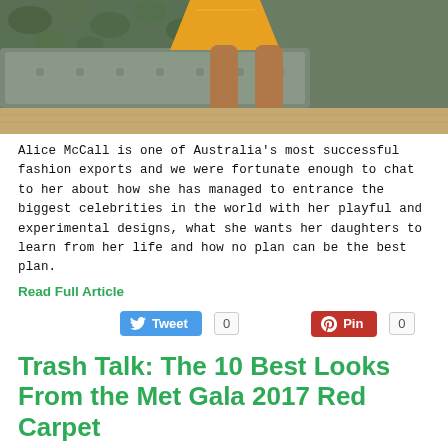[Figure (photo): Cropped photo showing lower body of a person in an orange/yellow dress sitting on a tufted grey couch with heeled sandals, hardwood floor background]
Alice McCall is one of Australia's most successful fashion exports and we were fortunate enough to chat to her about how she has managed to entrance the biggest celebrities in the world with her playful and experimental designs, what she wants her daughters to learn from her life and how no plan can be the best plan.
Read Full Article
[Figure (infographic): Social sharing buttons: Tweet button with bird icon and count 0, Pin button with Pinterest icon and count 0]
Trash Talk: The 10 Best Looks From the Met Gala 2017 Red Carpet
[Figure (photo): Cropped photo of a person with white/silver hair at what appears to be the Met Gala 2017, surrounded by photographers]